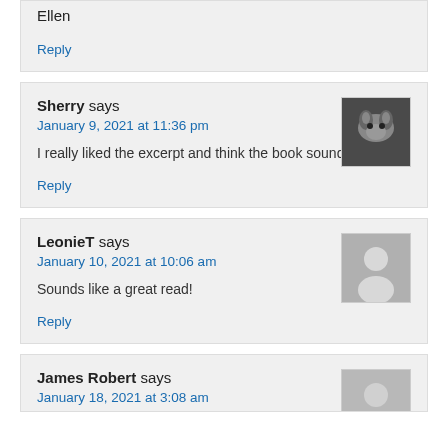Ellen
Reply
Sherry says
January 9, 2021 at 11:36 pm
I really liked the excerpt and think the book sounds good.
Reply
LeonieT says
January 10, 2021 at 10:06 am
Sounds like a great read!
Reply
James Robert says
January 18, 2021 at 3:08 am